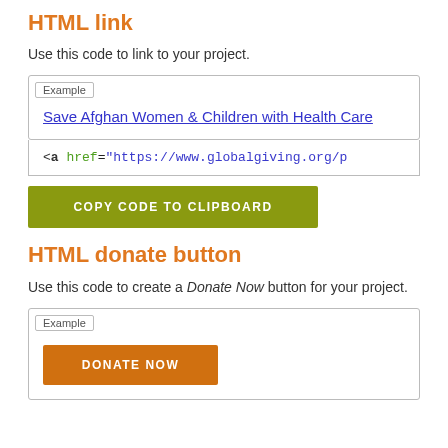HTML link
Use this code to link to your project.
[Figure (screenshot): Example box showing a hyperlink: 'Save Afghan Women & Children with Health Care' underlined in blue]
<a href="https://www.globalgiving.org/p...
COPY CODE TO CLIPBOARD
HTML donate button
Use this code to create a Donate Now button for your project.
[Figure (screenshot): Example box showing an orange DONATE NOW button]